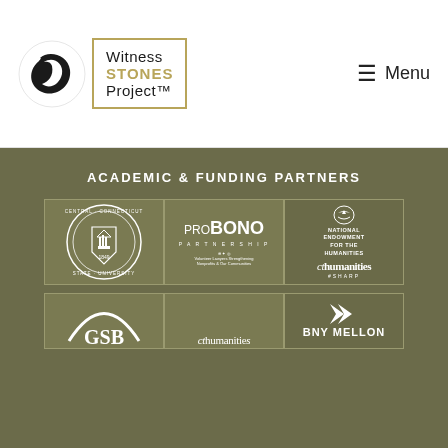[Figure (logo): Witness Stones Project logo: circular bird mark on left, gold-bordered text box reading 'Witness STONES Project™']
☰ Menu
ACADEMIC & FUNDING PARTNERS
[Figure (logo): Central Connecticut State University seal — circular seal with 1849]
[Figure (logo): Pro Bono Partnership logo — PRO BONO PARTNERSHIP, Volunteer Lawyers Strengthening Nonprofits & Our Communities]
[Figure (logo): National Endowment for the Humanities / CT Humanities #SHARP logo]
[Figure (logo): GSB partial logo (bottom row, partially cut off)]
[Figure (logo): cthumanities partial logo (bottom row, partially cut off)]
[Figure (logo): BNY Mellon logo with arrow mark]